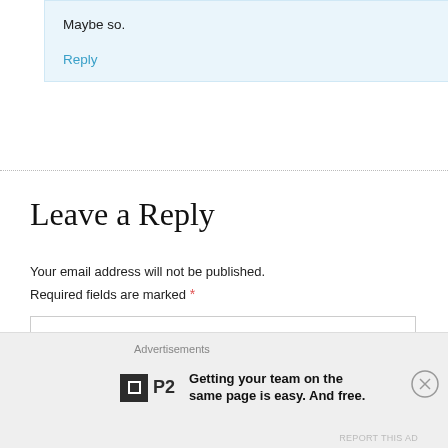Maybe so.
Reply
Leave a Reply
Your email address will not be published.
Required fields are marked *
[Figure (other): Empty comment text area input box]
Advertisements
[Figure (logo): P2 logo with tagline: Getting your team on the same page is easy. And free.]